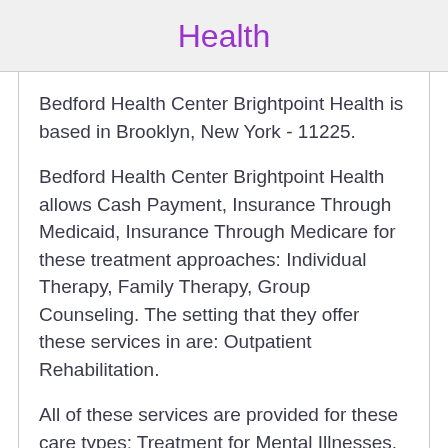Health
Bedford Health Center Brightpoint Health is based in Brooklyn, New York - 11225.
Bedford Health Center Brightpoint Health allows Cash Payment, Insurance Through Medicaid, Insurance Through Medicare for these treatment approaches: Individual Therapy, Family Therapy, Group Counseling. The setting that they offer these services in are: Outpatient Rehabilitation.
All of these services are provided for these care types: Treatment for Mental Illnesses. Bedford Health Center Brightpoint Health also offers...